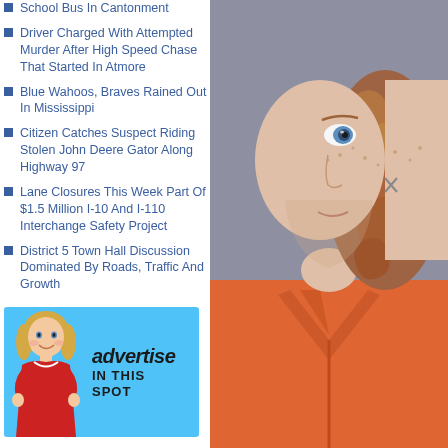School Bus In Cantonment
Driver Charged With Attempted Murder After High Speed Chase That Started In Atmore
Blue Wahoos, Braves Rained Out In Mississippi
Citizen Catches Suspect Riding Stolen John Deere Gator Along Highway 97
Lane Closures This Week Part Of $1.5 Million I-10 And I-110 Interchange Safety Project
District 5 Town Hall Discussion Dominated By Roads, Traffic And Growth
[Figure (illustration): Advertisement box with blue background featuring a cartoon girl in red clothing and text 'advertise IN THIS SPOT']
[Figure (photo): Mugshot of a young white male with curly reddish-brown shoulder-length hair, wearing an orange jail jumpsuit, blue eyes, freckles, with an X tattoo on cheek]